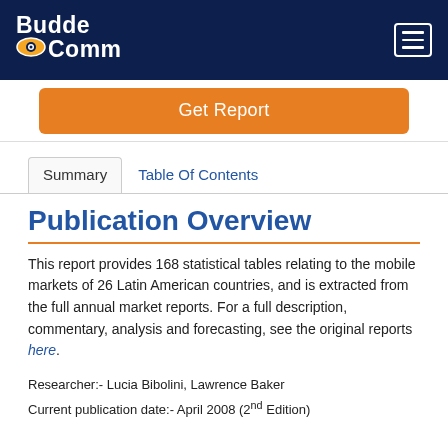BuddeComm
Get Report
Summary	Table Of Contents
Publication Overview
This report provides 168 statistical tables relating to the mobile markets of 26 Latin American countries, and is extracted from the full annual market reports. For a full description, commentary, analysis and forecasting, see the original reports here.
Researcher:- Lucia Bibolini, Lawrence Baker
Current publication date:- April 2008 (2nd Edition)